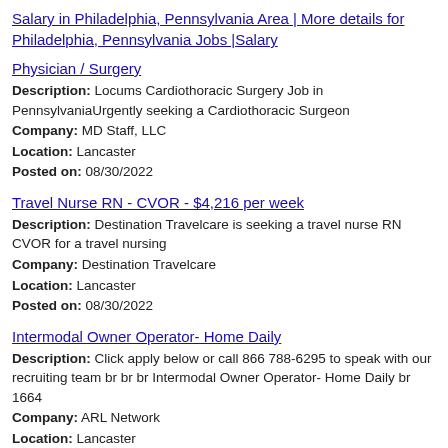Salary in Philadelphia, Pennsylvania Area | More details for Philadelphia, Pennsylvania Jobs |Salary
Physician / Surgery
Description: Locums Cardiothoracic Surgery Job in PennsylvaniaUrgently seeking a Cardiothoracic Surgeon
Company: MD Staff, LLC
Location: Lancaster
Posted on: 08/30/2022
Travel Nurse RN - CVOR - $4,216 per week
Description: Destination Travelcare is seeking a travel nurse RN CVOR for a travel nursing
Company: Destination Travelcare
Location: Lancaster
Posted on: 08/30/2022
Intermodal Owner Operator- Home Daily
Description: Click apply below or call 866 788-6295 to speak with our recruiting team br br br Intermodal Owner Operator- Home Daily br 1664
Company: ARL Network
Location: Lancaster
Posted on: 08/30/2022